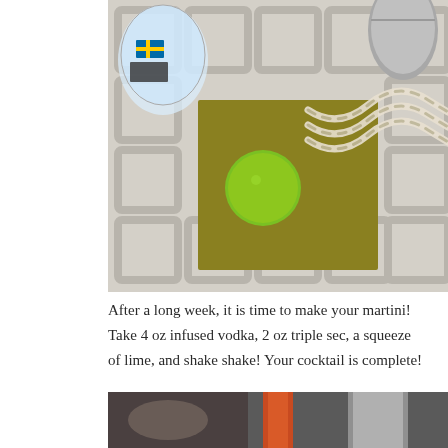[Figure (photo): Overhead photo showing a bottle of vodka with Swedish flag label, a lime, a gold/olive colored cocktail napkin, decorative twisted paper straws, and a metal cocktail shaker on a white geometric patterned surface.]
After a long week, it is time to make your martini!  Take 4 oz infused vodka, 2 oz triple sec, a squeeze of lime, and shake shake! Your cocktail is complete!
[Figure (photo): Partial photo showing what appears to be a cocktail glass with an orange/red garnish and cocktail shaker in the background.]